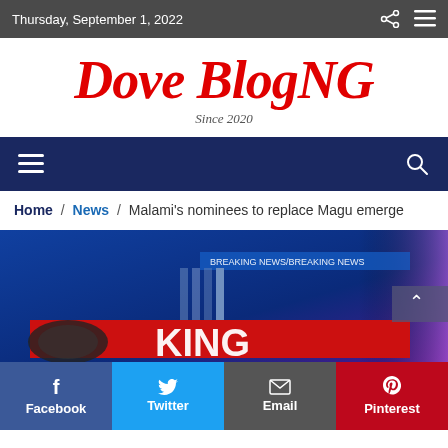Thursday, September 1, 2022
Dove BlogNG
Since 2020
[Figure (screenshot): Dark blue navigation bar with hamburger menu icon on left and search icon on right]
Home / News / Malami's nominees to replace Magu emerge
[Figure (photo): Breaking news image with blue background and partial text 'KING' visible with red banner. BREAKING NEWS/BREAKING NEWS ticker visible.]
Facebook  Twitter  Email  Pinterest